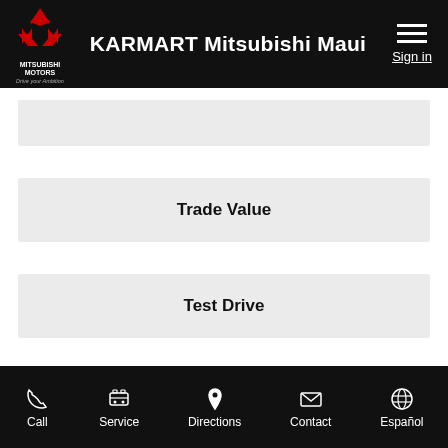KARMART Mitsubishi Maui
Trade Value
Test Drive
Confirm Availability
Call | Service | Directions | Contact | Español